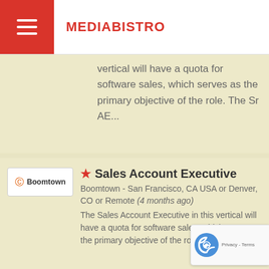MEDIABISTRO
vertical will have a quota for software sales, which serves as the primary objective of the role. The Sr AE...
Sales Account Executive
Boomtown - San Francisco, CA USA or Denver, CO or Remote (4 months ago) The Sales Account Executive in this vertical will have a quota for software sales, which serves as the primary objective of the role. The AE is re...
Account Executive